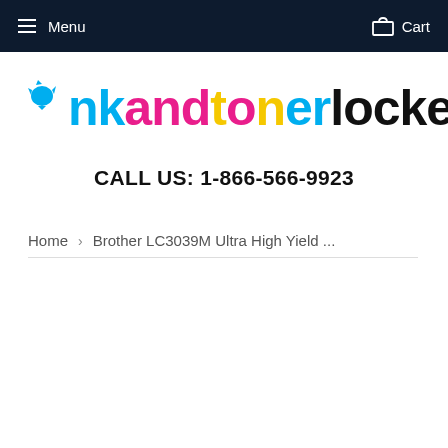Menu   Cart
[Figure (logo): Ink and Toner Locker logo with colorful letters: cyan 'i', magenta 'nk', yellow 'and', magenta 't', yellow 'o', cyan 'n', black 'er', black 'locker' with ink splat icon]
CALL US: 1-866-566-9923
Home  >  Brother LC3039M Ultra High Yield ...